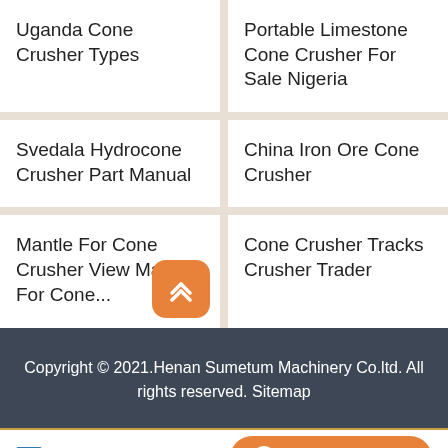Uganda Cone Crusher Types
Portable Limestone Cone Crusher For Sale Nigeria
Svedala Hydrocone Crusher Part Manual
China Iron Ore Cone Crusher
Mantle For Cone Crusher View Mantle For Cone...
Cone Crusher Tracks Crusher Trader
Copyright © 2021.Henan Sumetum Machinery Co.ltd. All rights reserved. Sitemap
Send Message
Free Consultation